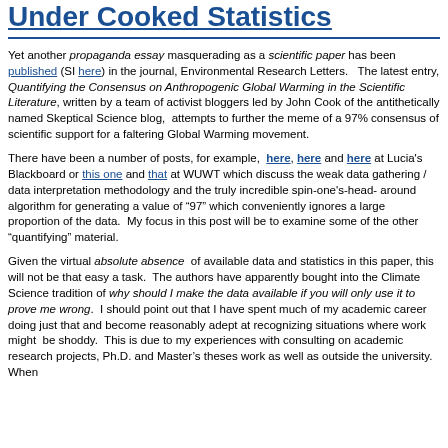Under Cooked Statistics
Yet another propaganda essay masquerading as a scientific paper has been published (SI here) in the journal, Environmental Research Letters.   The latest entry, Quantifying the Consensus on Anthropogenic Global Warming in the Scientific Literature, written by a team of activist bloggers led by John Cook of the antithetically named Skeptical Science blog,  attempts to further the meme of a 97% consensus of scientific support for a faltering Global Warming movement.
There have been a number of posts, for example,  here, here and here at Lucia's Blackboard or this one and that at WUWT which discuss the weak data gathering / data interpretation methodology and the truly incredible spin-one's-head- around algorithm for generating a value of “97” which conveniently ignores a large proportion of the data.  My focus in this post will be to examine some of the other “quantifying” material.
Given the virtual absolute absence  of available data and statistics in this paper, this will not be that easy a task.  The authors have apparently bought into the Climate Science tradition of why should I make the data available if you will only use it to prove me wrong.  I should point out that I have spent much of my academic career doing just that and become reasonably adept at recognizing situations where work might  be shoddy.  This is due to my experiences with consulting on academic research projects, Ph.D. and Master’s theses work as well as outside the university.  When